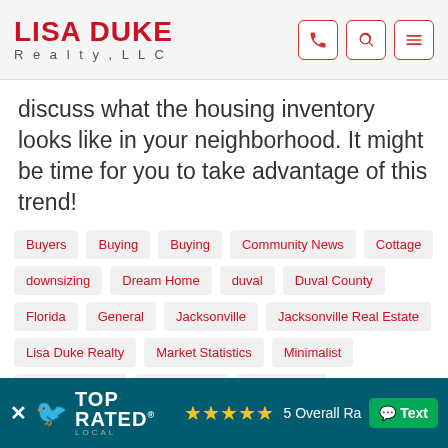LISA DUKE Realty, LLC
discuss what the housing inventory looks like in your neighborhood. It might be time for you to take advantage of this trend!
Buyers
Buying
Buying
Community News
Cottage
downsizing
Dream Home
duval
Duval County
Florida
General
Jacksonville
Jacksonville Real Estate
Lisa Duke Realty
Market Statistics
Minimalist
Nassau County
north florida
Real Estate
Real Estate News
[Figure (infographic): Top Rated Local banner with stars and 5 Overall Rating, plus Text button]